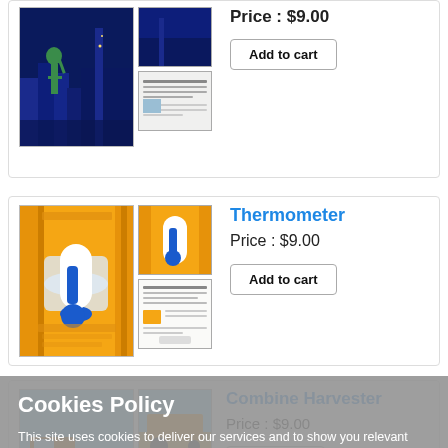[Figure (photo): Statue of Liberty product card image (partially visible at top)]
Price : $9.00
Add to cart
[Figure (photo): Thermometer Word template product image - orange background with thermometer]
Thermometer
Price : $9.00
Add to cart
[Figure (photo): Combine Harvester Word template product image]
Combine Harvester
Price : $9.00
Add to cart
[Figure (photo): Doodle Word template product image (partially visible at bottom)]
Doodle
Cookies Policy
This site uses cookies to deliver our services and to show you relevant templates. By clicking on "Accept", you acknowledge that you have read and understand our Cookie Policy
Accept